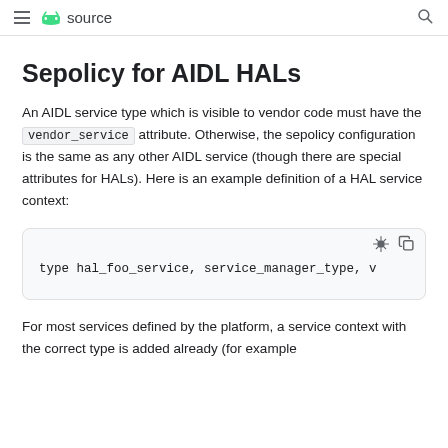≡ android source 🔍
Sepolicy for AIDL HALs
An AIDL service type which is visible to vendor code must have the vendor_service attribute. Otherwise, the sepolicy configuration is the same as any other AIDL service (though there are special attributes for HALs). Here is an example definition of a HAL service context:
[Figure (screenshot): Code block showing: type hal_foo_service, service_manager_type, v]
For most services defined by the platform, a service context with the correct type is added already (for example